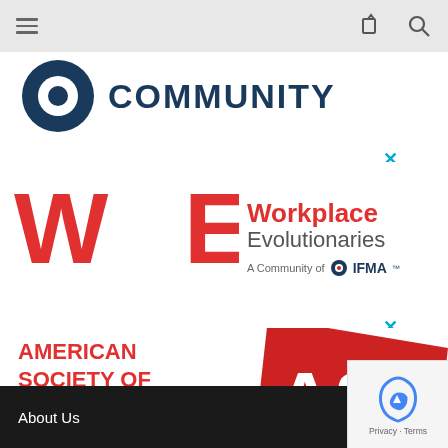[Figure (screenshot): Mobile browser navigation bar with hamburger menu icon, share icon, and search icon on a light gray background]
[Figure (logo): Partial logo showing dark navy circular shape with text COMMUNITY in bold dark navy letters]
[Figure (logo): Workplace Evolutionaries logo - WE letters in red with text Workplace Evolutionaries and A Community of IFMA tagline]
[Figure (logo): ASID - American Society of Interior Designers logo with red text and geometric AS ID mark]
About Us